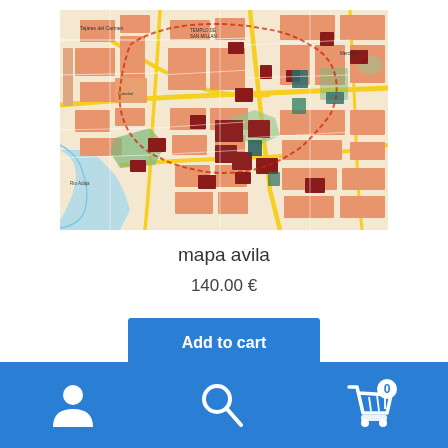[Figure (map): Street map of Avila, Spain showing city layout with orange building blocks, red landmark buildings, green parks/open areas, yellow main roads, and a river/water body in the lower-left corner.]
mapa avila
140.00 €
Add to cart
Bottom navigation bar with user account icon, search icon, and cart icon with badge showing 0